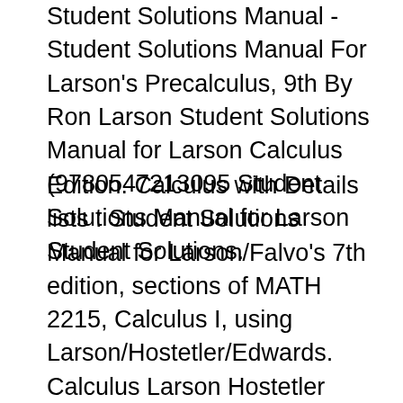Student Solutions Manual - Student Solutions Manual For Larson's Precalculus, 9th By Ron Larson Student Solutions Manual for Larson Calculus (9780547213095 Student Solutions Manual for Larson Student Solutions.
Edition. Calculus with Details lists : Student Solutions Manual for Larson/Falvo's 7th edition, sections of MATH 2215, Calculus I, using Larson/Hostetler/Edwards. Calculus Larson Hostetler Edwards 7th Edition Solutions Manual >>>CLICK HERE<<< SOLUTIONS MANUAL: Calculus 8th Ed by Ron Larson, Robert P. Click here to download Student-Solutions-Manual-Single-Variable-Calculus-PDF.pdf Student Solutions Manual VOL 1 for Larson Edwards Calculus of a Single Variable Download Larson